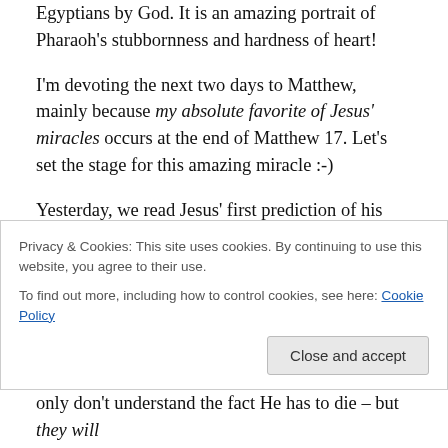Egyptians by God. It is an amazing portrait of Pharaoh's stubbornness and hardness of heart!
I'm devoting the next two days to Matthew, mainly because my absolute favorite of Jesus' miracles occurs at the end of Matthew 17. Let's set the stage for this amazing miracle :-)
Yesterday, we read Jesus' first prediction of his death. If you remember, Peter would not accept it, and Jesus rebuked him sharply.
Matthew 17:1... [partially visible]
Privacy & Cookies: This site uses cookies. By continuing to use this website, you agree to their use.
To find out more, including how to control cookies, see here: Cookie Policy
only don't understand the fact He has to die – but they will